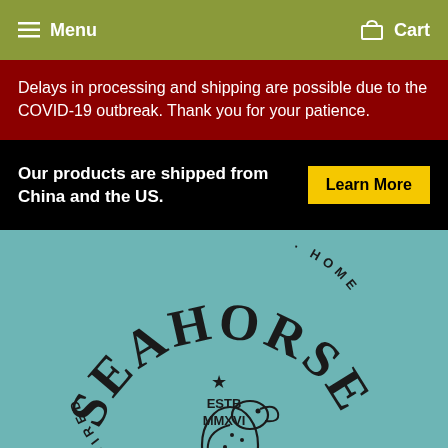Menu  Cart
Delays in processing and shipping are possible due to the COVID-19 outbreak. Thank you for your patience.
Our products are shipped from China and the US.
Learn More
[Figure (logo): Seahorse brand logo on teal background with arched text reading SEAHORSE, a star, ESTB MMXVI, and a seahorse illustration, with curved text INSPIRED and HOME on the sides]